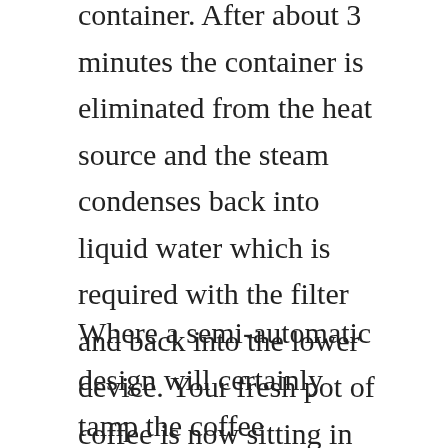container. After about 3 minutes the container is eliminated from the heat source and the steam condenses back into liquid water which is required with the filter and back into the lower device. Your fresh pot of coffee is now sitting in the lower unit. A fascinating method to brew a cup or pot of coffee!
Where a semi-automatic design will certainly tamp the coffee premises, brew the coffee, fill your cup and expel the old premises, a completely automatic